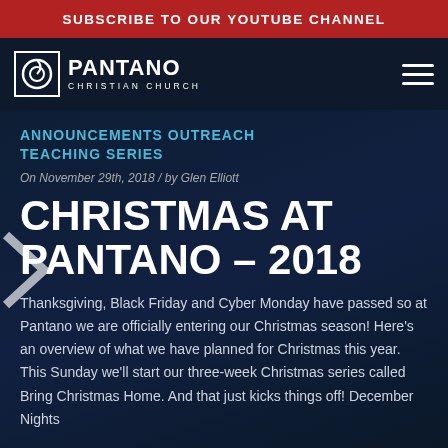SUBSCRIBE TO OUR YOUTUBE CHANNEL
[Figure (logo): Pantano Christian Church logo with circular 'P' icon and church name in white text on dark navy background, with hamburger menu icon on right]
ANNOUNCEMENTS OUTREACH TEACHING SERIES
On November 29th, 2018 / by Glen Elliott
CHRISTMAS AT PANTANO – 2018
Thanksgiving, Black Friday and Cyber Monday have passed so at Pantano we are officially entering our Christmas season! Here's an overview of what we have planned for Christmas this year. This Sunday we'll start our three-week Christmas series called Bring Christmas Home. And that just kicks things off! December Nights